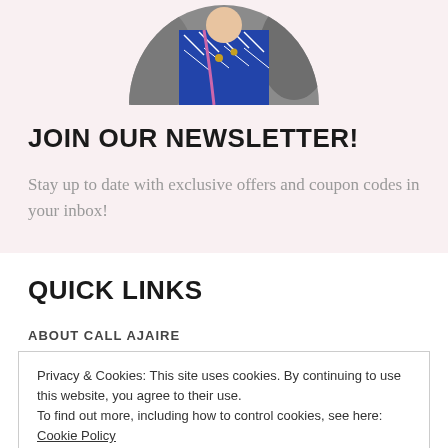[Figure (photo): Circular cropped photo of a person wearing a blue and white patterned outfit, shown from the top portion of the circle]
JOIN OUR NEWSLETTER!
Stay up to date with exclusive offers and coupon codes in your inbox!
QUICK LINKS
ABOUT CALL AJAIRE
Privacy & Cookies: This site uses cookies. By continuing to use this website, you agree to their use.
To find out more, including how to control cookies, see here: Cookie Policy
Close and accept
SHOP